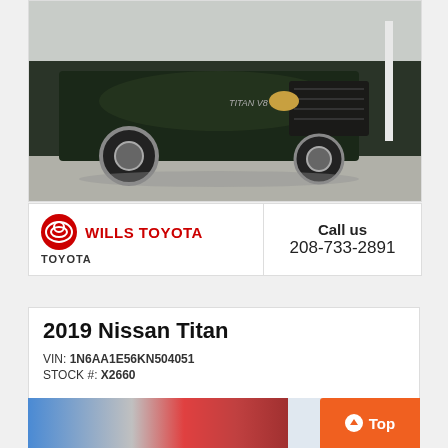[Figure (photo): Front view of a dark green/black 2019 Nissan Titan pickup truck in a dealership lot]
WILLS TOYOTA
Call us
208-733-2891
2019 Nissan Titan
VIN: 1N6AA1E56KN504051
STOCK #: X2660
|  | Price |
| --- | --- |
| MSRP: | $44,064 |
| Dealer Discount | $1,076 |
CLICK HERE
$42,988
[Figure (photo): Bottom strip showing partial Toyota dealership exterior and Top button]